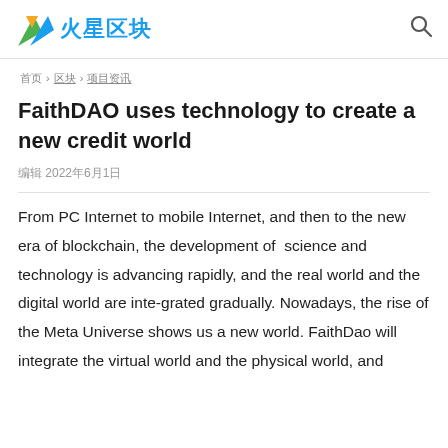火星区块
首页 › 区块链 › 项目 › FaithDAO
FaithDAO uses technology to create a new credit world
编辑 2022年6月1日
From PC Internet to mobile Internet, and then to the new era of blockchain, the development of  science and technology is advancing rapidly, and the real world and the digital world are inte-grated gradually. Nowadays, the rise of the Meta Universe shows us a new world. FaithDao will integrate the virtual world and the physical world, and